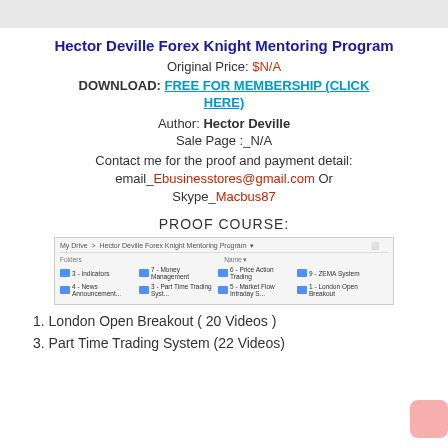Hector Deville Forex Knight Mentoring Program
Original Price: $N/A
DOWNLOAD: FREE FOR MEMBERSHIP (CLICK HERE)
Author: Hector Deville
Sale Page :_N/A
Contact me for the proof and payment detail: email_Ebusinesstores@gmail.com Or Skype_Macbus87
PROOF COURSE:
[Figure (screenshot): Google Drive screenshot showing folder contents of Hector Deville Forex Knight Mentoring Program with folders: 3-Indicators, 7-Money Management, 6-Price Action Trading, 9-ZEMA System, 4-News Announcement, 3-Part Time Trading System, 5-Market Flow Intraday S..., 1-London Open Breakout]
1. London Open Breakout ( 20 Videos )
3. Part Time Trading System (22 Videos)